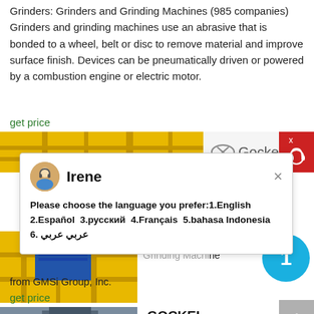Grinders: Grinders and Grinding Machines (985 companies) Grinders and grinding machines use an abrasive that is bonded to a wheel, belt or disc to remove material and improve surface finish. Devices can be pneumatically driven or powered by a combustion engine or electric motor.
get price
[Figure (photo): Yellow industrial machinery/grinding equipment with Gockel logo]
[Figure (screenshot): Chat popup with avatar of agent named Irene asking to choose language: 1.English 2.Español 3.русский 4.Français 5.bahasa Indonesia 6. عربيعربي]
[Figure (photo): Yellow industrial machinery product image for Gockel Precision Knife Grinding Machine]
Find Gockel Precision Knife Grinding Machine from GMSi Group, Inc.
get price
[Figure (photo): Blue industrial machine - GOCKEL G65El Knife Grinders]
GOCKEL G65El Knife Grinders